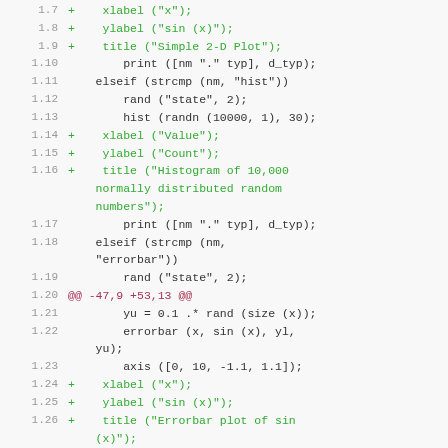Code listing showing diff output with line numbers 1.7 through 1.29, including Octave/MATLAB code for plot, xlabel, ylabel, title, print, elseif, rand, hist, errorbar, axis, and polar functions. Lines marked with + are additions (shown in green). Line 1.20 is a diff hunk header shown in magenta.